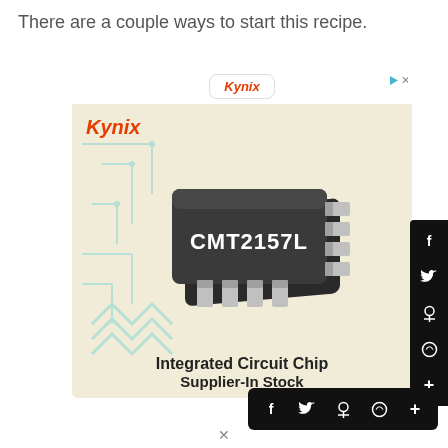There are a couple ways to start this recipe.
[Figure (screenshot): Advertisement for Kynix integrated circuit chip supplier showing a CMT2157L IC chip on a yellow circuit board background with 'Integrated Circuit Chip Supplier-In Stock' text]
[Figure (infographic): Social media sharing sidebar with Facebook, Twitter, Pinterest, WhatsApp and plus buttons (vertical on right side, horizontal at bottom)]